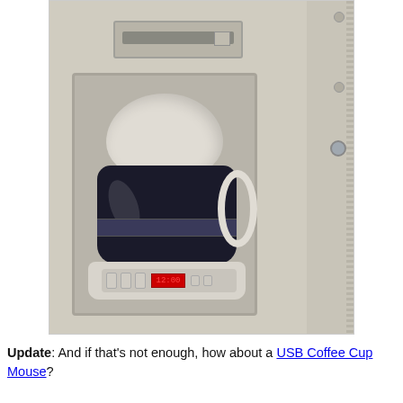[Figure (photo): A coffee maker built into or placed next to a beige computer tower. The coffee maker has a white/beige body with a dark glass carafe, white handle, filter basket at top, and a control panel with buttons and a red digital display at the base. The background of the image has a blue surface and the computer tower with a floppy drive bay is visible.]
Update: And if that's not enough, how about a USB Coffee Cup Mouse?